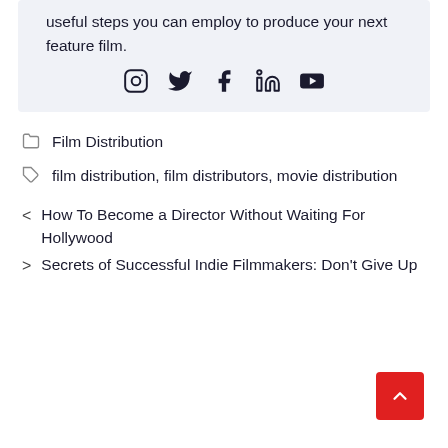useful steps you can employ to produce your next feature film.
[Figure (other): Social media icons: Instagram, Twitter, Facebook, LinkedIn, YouTube]
Film Distribution
film distribution, film distributors, movie distribution
< How To Become a Director Without Waiting For Hollywood
> Secrets of Successful Indie Filmmakers: Don't Give Up